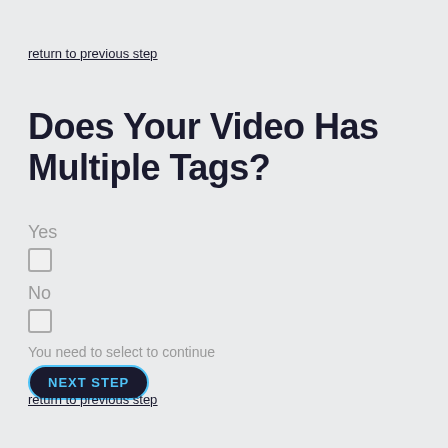return to previous step
Does Your Video Has Multiple Tags?
Yes
No
You need to select to continue
NEXT STEP
return to previous step